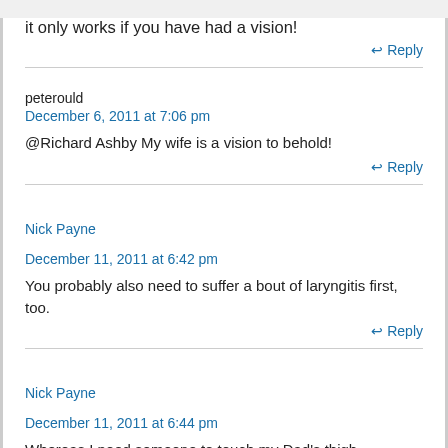it only works if you have had a vision!
↩ Reply
peterould
December 6, 2011 at 7:06 pm
@Richard Ashby My wife is a vision to behold!
↩ Reply
Nick Payne
December 11, 2011 at 6:42 pm
You probably also need to suffer a bout of laryngitis first, too.
↩ Reply
Nick Payne
December 11, 2011 at 6:44 pm
Whereas I need someone to touch my Dad's thigh